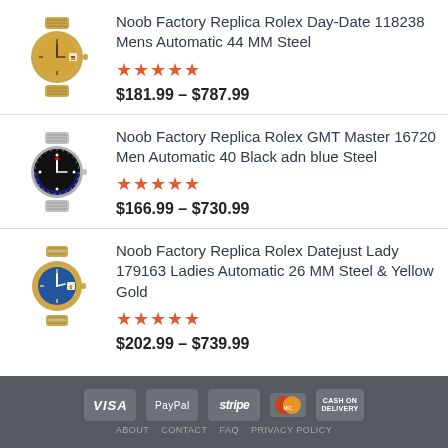[Figure (photo): Gold Rolex Day-Date watch with champagne dial and gold bracelet]
Noob Factory Replica Rolex Day-Date 118238 Mens Automatic 44 MM Steel
★★★★★
$181.99 – $787.99
[Figure (photo): Rolex GMT Master watch with black and blue bezel, silver bracelet]
Noob Factory Replica Rolex GMT Master 16720 Men Automatic 40 Black adn blue Steel
★★★★★
$166.99 – $730.99
[Figure (photo): Rolex Datejust Lady watch with blue dial and two-tone gold and steel bracelet]
Noob Factory Replica Rolex Datejust Lady 179163 Ladies Automatic 26 MM Steel & Yellow Gold
★★★★★
$202.99 – $739.99
VISA  PayPal  stripe  MasterCard  CASH ON DELIVERY  |  ABOUT  CONTACT  FAQ  PRIVACY POLICY